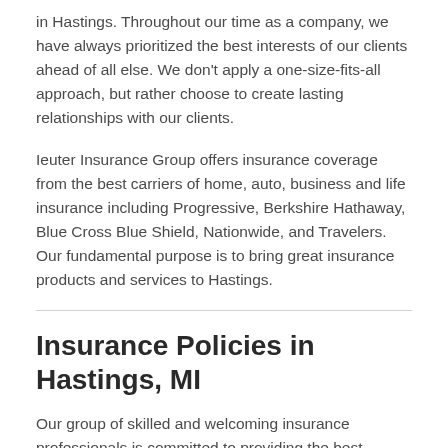in Hastings. Throughout our time as a company, we have always prioritized the best interests of our clients ahead of all else. We don't apply a one-size-fits-all approach, but rather choose to create lasting relationships with our clients.
Ieuter Insurance Group offers insurance coverage from the best carriers of home, auto, business and life insurance including Progressive, Berkshire Hathaway, Blue Cross Blue Shield, Nationwide, and Travelers. Our fundamental purpose is to bring great insurance products and services to Hastings.
Insurance Policies in Hastings, MI
Our group of skilled and welcoming insurance professionals is committed to providing the best insurance services in Hastings. When you talk to one of our team members, we will learn about you and build an insurance policy that meets your financial restraints and needs. We understand you have unique needs, so we are dedicated to hearing from you and making a solution specifically for you.